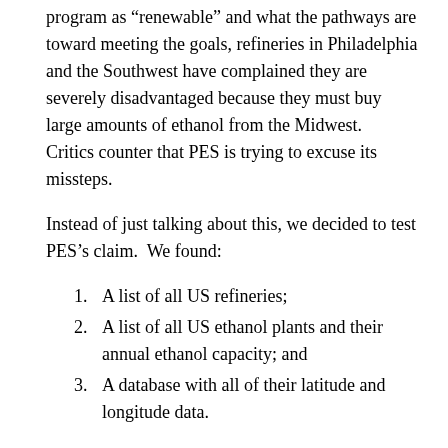program as “renewable” and what the pathways are toward meeting the goals, refineries in Philadelphia and the Southwest have complained they are severely disadvantaged because they must buy large amounts of ethanol from the Midwest.  Critics counter that PES is trying to excuse its missteps.
Instead of just talking about this, we decided to test PES’s claim.  We found:
A list of all US refineries;
A list of all US ethanol plants and their annual ethanol capacity; and
A database with all of their latitude and longitude data.